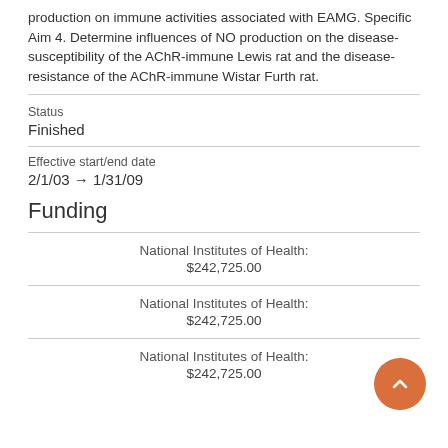production on immune activities associated with EAMG. Specific Aim 4. Determine influences of NO production on the disease-susceptibility of the AChR-immune Lewis rat and the disease-resistance of the AChR-immune Wistar Furth rat.
Status
Finished
Effective start/end date
2/1/03 → 1/31/09
Funding
| Funder | Amount |
| --- | --- |
| National Institutes of Health: | $242,725.00 |
| National Institutes of Health: | $242,725.00 |
| National Institutes of Health: | $242,725.00 |